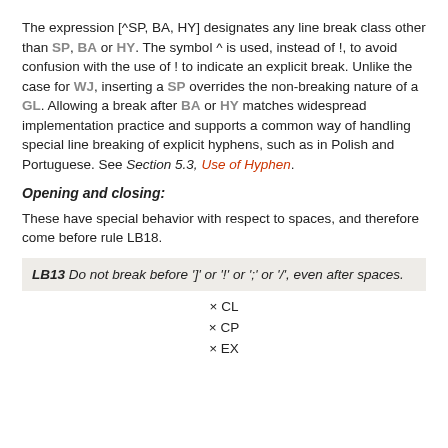The expression [^SP, BA, HY] designates any line break class other than SP, BA or HY. The symbol ^ is used, instead of !, to avoid confusion with the use of ! to indicate an explicit break. Unlike the case for WJ, inserting a SP overrides the non-breaking nature of a GL. Allowing a break after BA or HY matches widespread implementation practice and supports a common way of handling special line breaking of explicit hyphens, such as in Polish and Portuguese. See Section 5.3, Use of Hyphen.
Opening and closing:
These have special behavior with respect to spaces, and therefore come before rule LB18.
LB13 Do not break before ']' or '!' or ';' or '/', even after spaces.